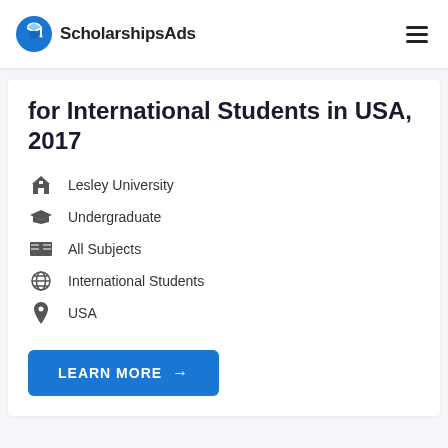ScholarshipsAds
for International Students in USA, 2017
Lesley University
Undergraduate
All Subjects
International Students
USA
LEARN MORE →